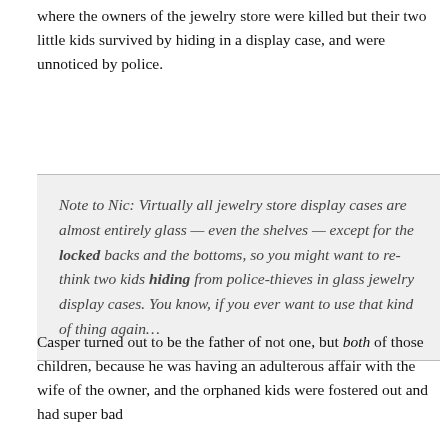where the owners of the jewelry store were killed but their two little kids survived by hiding in a display case, and were unnoticed by police.
Note to Nic: Virtually all jewelry store display cases are almost entirely glass — even the shelves — except for the locked backs and the bottoms, so you might want to re-think two kids hiding from police-thieves in glass jewelry display cases. You know, if you ever want to use that kind of thing again…
Casper turned out to be the father of not one, but both of those children, because he was having an adulterous affair with the wife of the owner, and the orphaned kids were fostered out and had super bad